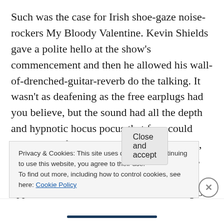Such was the case for Irish shoe-gaze noise-rockers My Bloody Valentine. Kevin Shields gave a polite hello at the show's commencement and then he allowed his wall-of-drenched-guitar-reverb do the talking. It wasn't as deafening as the free earplugs had you believe, but the sound had all the depth and hypnotic hocus pocus that fans could have hoped for. The plug were called upon, however, when at the show's finale Shields and his co-conspirators launched into an oppressive 15-minute sustained blitzkrieg of white noise. Now, 15-minutes is noticeably long for a melodic or chaotic progressive rock
Privacy & Cookies: This site uses cookies. By continuing to use this website, you agree to their use.
To find out more, including how to control cookies, see here: Cookie Policy
Close and accept